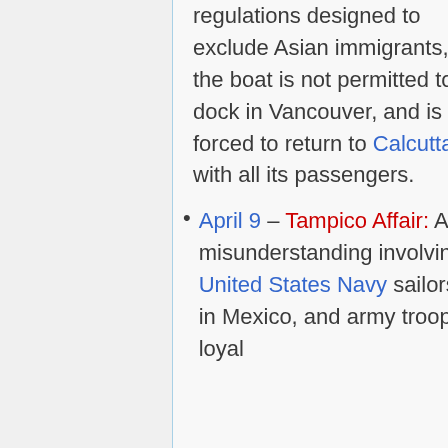regulations designed to exclude Asian immigrants, the boat is not permitted to dock in Vancouver, and is forced to return to Calcutta with all its passengers.
April 9 – Tampico Affair: A misunderstanding involving United States Navy sailors in Mexico, and army troops loyal to...